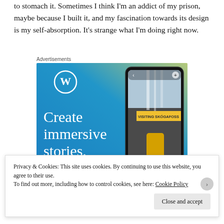to stomach it. Sometimes I think I'm an addict of my prison, maybe because I built it, and my fascination towards its design is my self-absorption. It's strange what I'm doing right now.
Advertisements
[Figure (illustration): WordPress advertisement banner with blue gradient background showing the WordPress logo (W in circle), text 'Create immersive stories.' in white, and a smartphone showing a travel blog post titled 'VISITING SKOGAFOSS' with a waterfall and person in yellow jacket.]
Privacy & Cookies: This site uses cookies. By continuing to use this website, you agree to their use. To find out more, including how to control cookies, see here: Cookie Policy
Close and accept